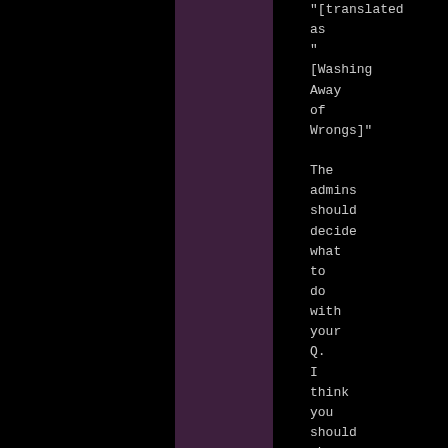"[translated as "[Washing Away of Wrongs]"

The admins should decide what to do with your Q. I think you should choose another field when you write a new one